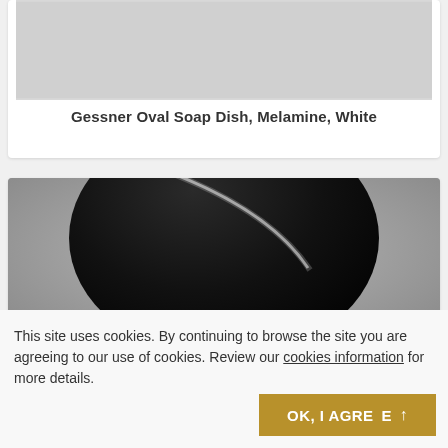[Figure (photo): Top portion of a product image, showing a light gray background, partially visible product area]
Gessner Oval Soap Dish, Melamine, White
[Figure (photo): Close-up photo of a black oval soap dish (melamine) against a gray background, showing the glossy dark surface with a white highlight line]
This site uses cookies. By continuing to browse the site you are agreeing to our use of cookies. Review our cookies information for more details.
OK, I AGREE